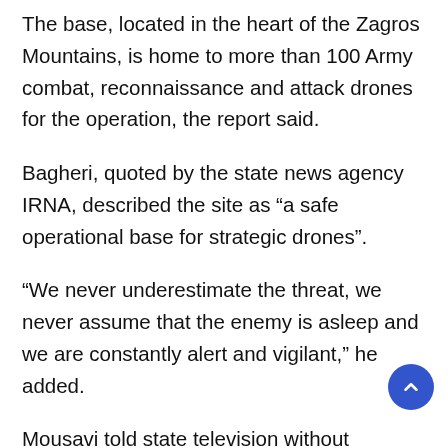The base, located in the heart of the Zagros Mountains, is home to more than 100 Army combat, reconnaissance and attack drones for the operation, the report said.
Bagheri, quoted by the state news agency IRNA, described the site as “a safe operational base for strategic drones”.
“We never underestimate the threat, we never assume that the enemy is asleep and we are constantly alert and vigilant,” he added.
Mousavi told state television without elaborating that the base was “several hundred meters (yards)